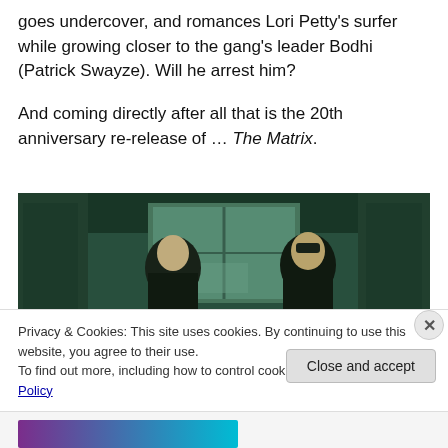goes undercover, and romances Lori Petty's surfer while growing closer to the gang's leader Bodhi (Patrick Swayze). Will he arrest him?
And coming directly after all that is the 20th anniversary re-release of … The Matrix.
[Figure (photo): Scene from The Matrix showing two characters in dark clothing in a hallway with large windows. Left character is a woman wearing black leather, right character is a man wearing sunglasses and a dark jacket.]
Privacy & Cookies: This site uses cookies. By continuing to use this website, you agree to their use.
To find out more, including how to control cookies, see here: Cookie Policy
Close and accept